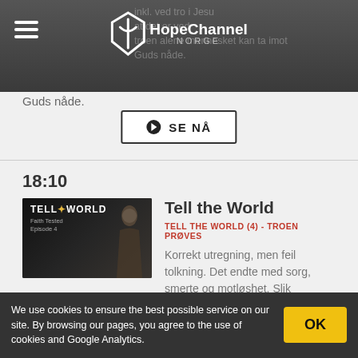HopeChannel NORGE
Guds nåde.
SE NÅ
18:10
[Figure (photo): Thumbnail for Tell the World episode 4 - Faith Tested, showing a person in low light with text overlay]
Tell the World
TELL THE WORLD (4) - TROEN PRØVES
Korrekt utregning, men feil tolkning. Det endte med sorg, smerte og motløshet. Slik begynner fortellingen om Syvendedags Adventistkirken.
SE NÅ
We use cookies to ensure the best possible service on our site. By browsing our pages, you agree to the use of cookies and Google Analytics.